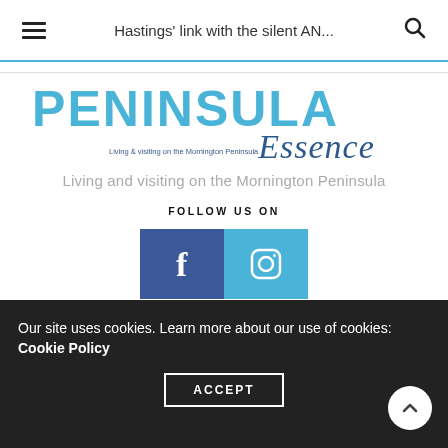Hastings' link with the silent AN...
[Figure (logo): Peninsula Essence magazine logo — 'PENINSULA' in large teal uppercase letters, 'Essence' in dark blue italic script, tagline 'Living & visiting on the Mornington Peninsula']
Living and visiting on the Mornington Peninsula
FOLLOW US ON
[Figure (other): Facebook icon (dark blue square with white f) and Instagram icon (teal square with white camera outline)]
Our site uses cookies. Learn more about our use of cookies: Cookie Policy
ACCEPT